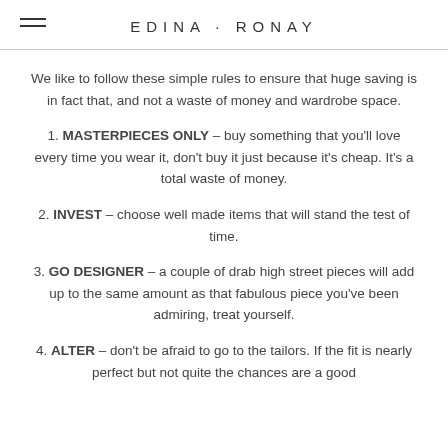EDINA · RONAY
We like to follow these simple rules to ensure that huge saving is in fact that, and not a waste of money and wardrobe space.
1. MASTERPIECES ONLY – buy something that you'll love every time you wear it, don't buy it just because it's cheap. It's a total waste of money.
2. INVEST – choose well made items that will stand the test of time.
3. GO DESIGNER – a couple of drab high street pieces will add up to the same amount as that fabulous piece you've been admiring, treat yourself.
4. ALTER – don't be afraid to go to the tailors. If the fit is nearly perfect but not quite the chances are a good